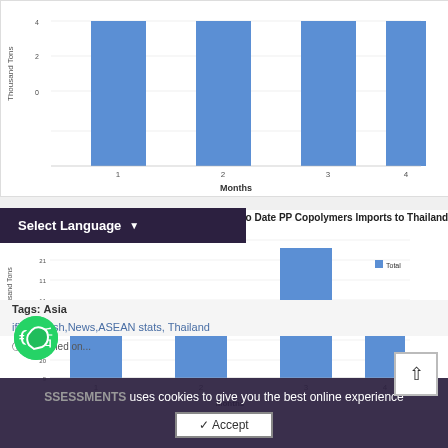[Figure (bar-chart): (partial top chart - Months axis visible)]
Year to Date PP Copolymers Imports to Thailand 2020
[Figure (bar-chart): Year to Date PP Copolymers Imports to Thailand 2020]
SSESSMENTS uses cookies to give you the best online experience
Tags: Asia
Pacific, English, News, ASEAN, Stats, Thailand
Accept